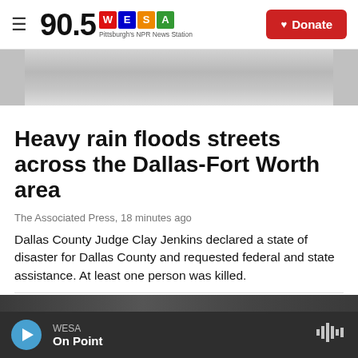90.5 WESA — Pittsburgh's NPR News Station | Donate
[Figure (photo): Gray-toned hero image, partially cropped]
Heavy rain floods streets across the Dallas-Fort Worth area
The Associated Press,  18 minutes ago
Dallas County Judge Clay Jenkins declared a state of disaster for Dallas County and requested federal and state assistance. At least one person was killed.
[Figure (photo): Partial bottom photo strip, dark tones]
WESA — On Point (player bar)